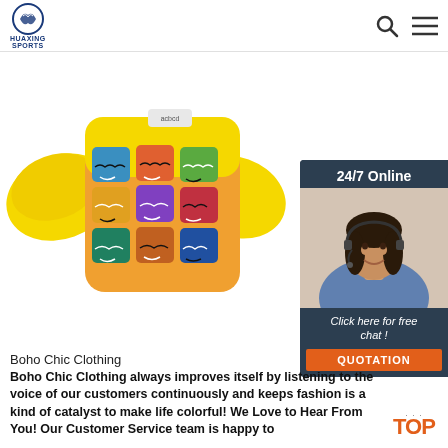HUAXING SPORTS
[Figure (photo): Yellow children's swim vest / life jacket with colorful cartoon faces print on the front, shown on white background. Brand tag visible.]
[Figure (photo): Customer service chat widget: '24/7 Online' header, photo of a smiling woman with headset, 'Click here for free chat!' text, and an orange QUOTATION button.]
Boho Chic Clothing
Boho Chic Clothing always improves itself by listening to the voice of our customers continuously and keeps fashion is a kind of catalyst to make life colorful! We Love to Hear From You! Our Customer Service team is happy to